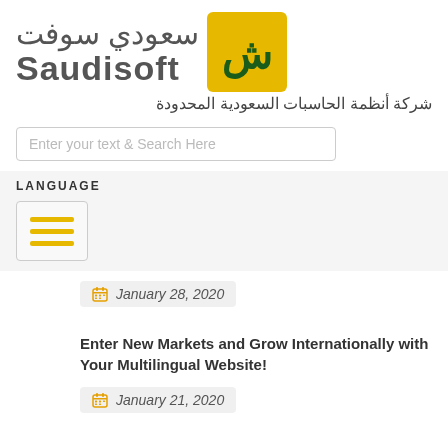[Figure (logo): Saudisoft logo with Arabic text and yellow/green icon]
شركة أنظمة الحاسبات السعودية المحدودة
Enter your text & Search Here
LANGUAGE
[Figure (infographic): Hamburger menu icon with three yellow horizontal lines in a bordered box]
January 28, 2020
Enter New Markets and Grow Internationally with Your Multilingual Website!
January 21, 2020